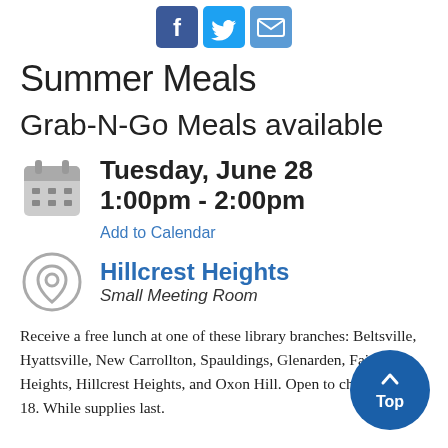[Figure (infographic): Row of three social media sharing icons: Facebook (blue), Twitter (blue), Email (blue envelope)]
Summer Meals
Grab-N-Go Meals available
Tuesday, June 28
1:00pm - 2:00pm
Add to Calendar
Hillcrest Heights
Small Meeting Room
Receive a free lunch at one of these library branches: Beltsville, Hyattsville, New Carrollton, Spauldings, Glenarden, Fairmount Heights, Hillcrest Heights, and Oxon Hill. Open to children up to 18. While supplies last.